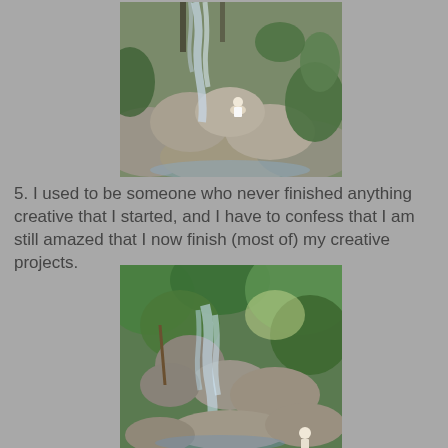[Figure (photo): A person sitting on large rocks near a waterfall surrounded by green vegetation and boulders.]
5. I used to be someone who never finished anything creative that I started, and I have to confess that I am still amazed that I now finish (most of) my creative projects.
[Figure (photo): A cascading waterfall flowing over rocks surrounded by lush green trees and foliage, with a person visible at the bottom.]